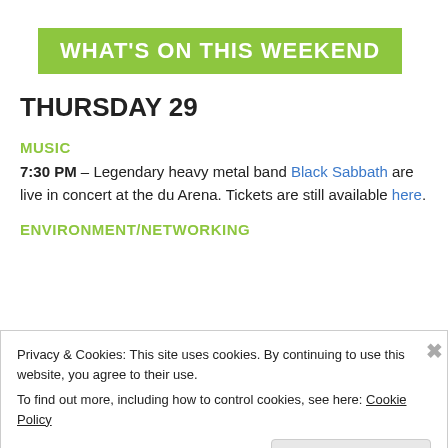WHAT'S ON THIS WEEKEND
THURSDAY 29
MUSIC
7:30 PM – Legendary heavy metal band Black Sabbath are live in concert at the du Arena. Tickets are still available here.
ENVIRONMENT/NETWORKING
Privacy & Cookies: This site uses cookies. By continuing to use this website, you agree to their use.
To find out more, including how to control cookies, see here: Cookie Policy
Close and accept